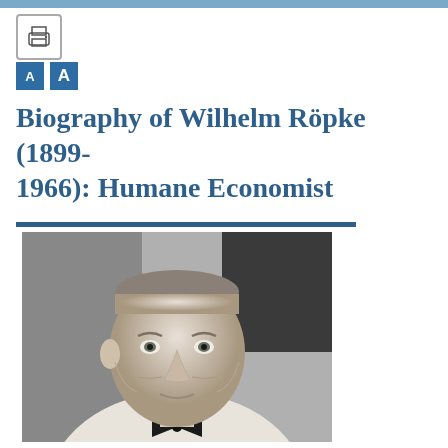Biography of Wilhelm Röpke (1899-1966): Humane Economist
[Figure (photo): Black and white portrait photograph of Wilhelm Röpke, an older man wearing a white suit jacket and dark bow tie, looking directly at the camera with a composed expression.]